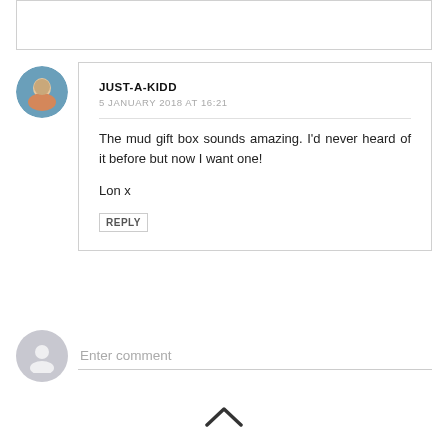[Figure (other): Top comment box partial — empty white box with border, cut off at top of page]
[Figure (photo): Round avatar photo of a person outdoors near water]
JUST-A-KIDD
5 JANUARY 2018 AT 16:21
The mud gift box sounds amazing. I'd never heard of it before but now I want one!

Lon x
REPLY
[Figure (other): Default grey user avatar silhouette circle for comment input]
Enter comment
[Figure (other): Upward chevron arrow icon for back-to-top navigation]